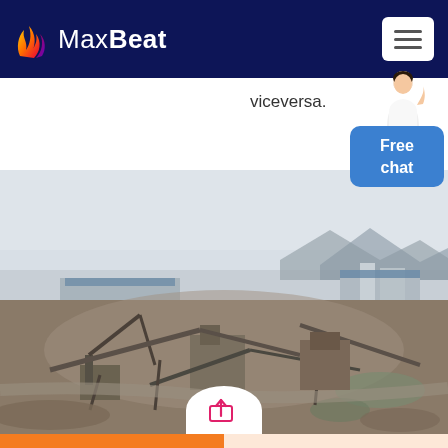MaxBeat
viceversa.
[Figure (photo): Aerial view of a quarry or mining/crushing plant facility with industrial machinery, conveyor belts, and buildings in a dusty landscape with mountains in the background.]
Get a Quote
WhatsApp